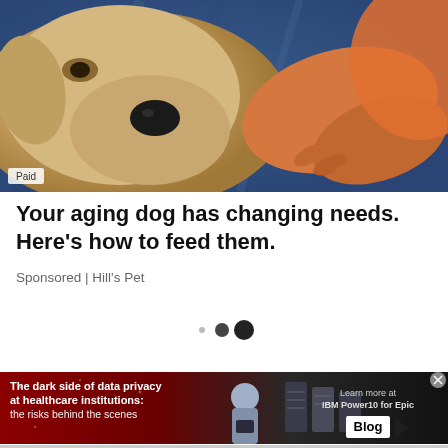[Figure (photo): A golden/yellow Labrador dog resting its head on someone's denim-clad lap, with a person's hand petting the dog. A 'Paid' label appears at the bottom-left of the photo.]
Your aging dog has changing needs. Here's how to feed them.
Sponsored | Hill's Pet
[Figure (other): Three pagination dots: one small grey dot, one medium dark dot, and one large dark dot indicating carousel position]
[Figure (infographic): Advertisement banner: dark red/black background. Left side shows text 'The dark side of data privacy at healthcare institutions: the risks behind the scenes'. Center shows a person holding a tablet and dark server stacks. Right side shows 'Learn more at IBM Power10 for Epic' and a 'Blog' badge with play icon.]